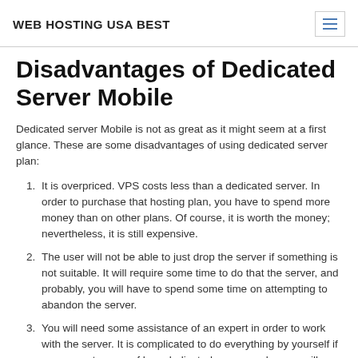WEB HOSTING USA BEST
Disadvantages of Dedicated Server Mobile
Dedicated server Mobile is not as great as it might seem at a first glance. These are some disadvantages of using dedicated server plan:
It is overpriced. VPS costs less than a dedicated server. In order to purchase that hosting plan, you have to spend more money than on other plans. Of course, it is worth the money; nevertheless, it is still expensive.
The user will not be able to just drop the server if something is not suitable. It will require some time to do that the server, and probably, you will have to spend some time on attempting to abandon the server.
You will need some assistance of an expert in order to work with the server. It is complicated to do everything by yourself if you are not aware of how dedicated server works, you will